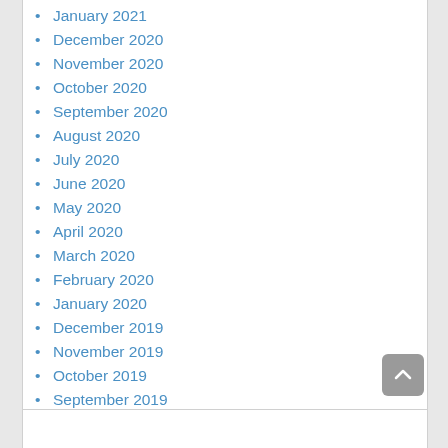January 2021
December 2020
November 2020
October 2020
September 2020
August 2020
July 2020
June 2020
May 2020
April 2020
March 2020
February 2020
January 2020
December 2019
November 2019
October 2019
September 2019
August 2019
October 2015